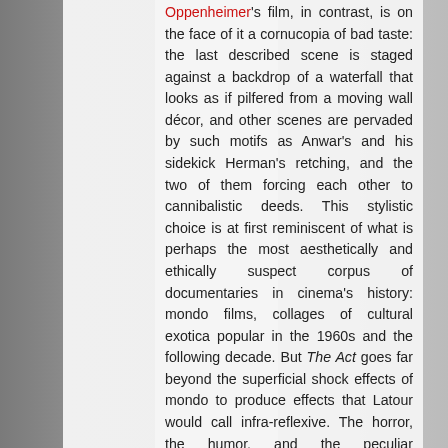Oppenheimer's film, in contrast, is on the face of it a cornucopia of bad taste: the last described scene is staged against a backdrop of a waterfall that looks as if pilfered from a moving wall décor, and other scenes are pervaded by such motifs as Anwar's and his sidekick Herman's retching, and the two of them forcing each other to cannibalistic deeds. This stylistic choice is at first reminiscent of what is perhaps the most aesthetically and ethically suspect corpus of documentaries in cinema's history: mondo films, collages of cultural exotica popular in the 1960s and the following decade. But The Act goes far beyond the superficial shock effects of mondo to produce effects that Latour would call infra-reflexive. The horror, the humor, and the peculiar combination of the two reactions the film elicits typically concern